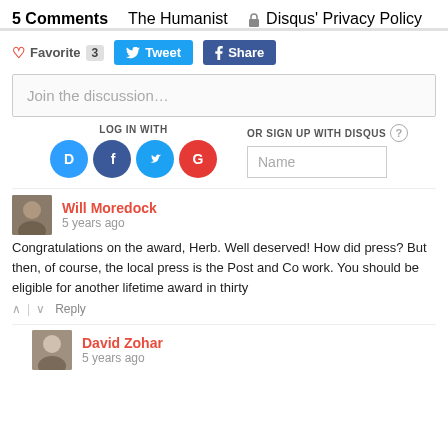5 Comments   The Humanist   Disqus' Privacy Policy
♡ Favorite 3   Tweet   Share
Join the discussion…
LOG IN WITH
OR SIGN UP WITH DISQUS ?
Name
Will Moredock
5 years ago
Congratulations on the award, Herb. Well deserved! How did press? But then, of course, the local press is the Post and Co work. You should be eligible for another lifetime award in thirty
↑ | ↓   Reply
David Zohar
5 years ago